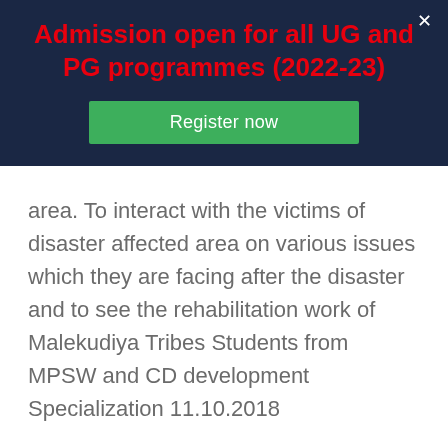Admission open for all UG and PG programmes (2022-23)
Register now
area. To interact with the victims of disaster affected area on various issues which they are facing after the disaster and to see the rehabilitation work of Malekudiya Tribes Students from MPSW and CD development Specialization 11.10.2018